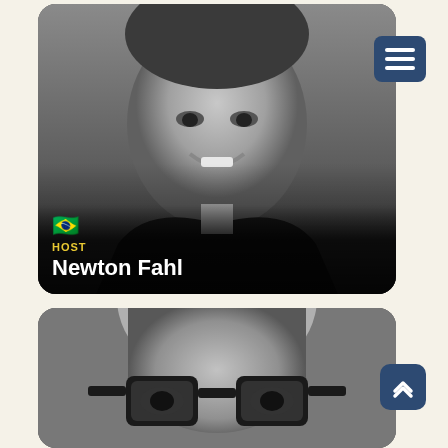[Figure (photo): Black and white headshot of a smiling middle-aged man wearing a black t-shirt, with a Brazilian flag emoji overlay and 'HOST Newton Fahl' text overlay at the bottom left]
[Figure (other): Dark blue square button with three horizontal white lines (hamburger menu icon)]
[Figure (photo): Black and white headshot of a bald man with thick black-rimmed glasses, cropped at forehead and mouth]
[Figure (other): Dark blue rounded square button with an upward-pointing chevron/arrow icon in white]